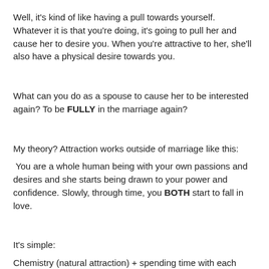Well, it's kind of like having a pull towards yourself. Whatever it is that you're doing, it's going to pull her and cause her to desire you. When you're attractive to her, she'll also have a physical desire towards you.
What can you do as a spouse to cause her to be interested again? To be FULLY in the marriage again?
My theory? Attraction works outside of marriage like this:
You are a whole human being with your own passions and desires and she starts being drawn to your power and confidence. Slowly, through time, you BOTH start to fall in love.
It's simple:
Chemistry (natural attraction) + spending time with each other = being attracted to someone
We'll be attracted to different types of people our whole lives. It's up to us as married people to choose things with them...